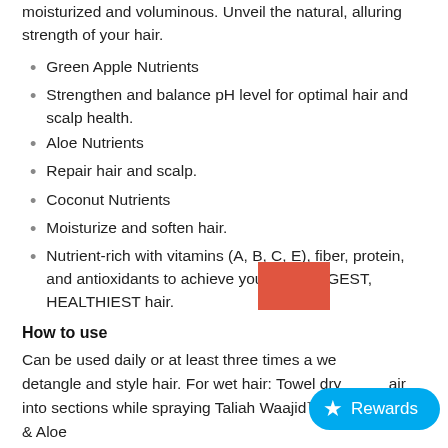moisturized and voluminous. Unveil the natural, alluring strength of your hair.
Green Apple Nutrients
Strengthen and balance pH level for optimal hair and scalp health.
Aloe Nutrients
Repair hair and scalp.
Coconut Nutrients
Moisturize and soften hair.
Nutrient-rich with vitamins (A, B, C, E), fiber, protein, and antioxidants to achieve your STRONGEST, HEALTHIEST hair.
How to use
Can be used daily or at least three times a week to detangle and style hair. For wet hair: Towel dry hair into sections while spraying Taliah Waajid™ Green Apple & Aloe
[Figure (other): Red/orange rectangle overlay element]
[Figure (other): Rewards button with star icon and cyan background]